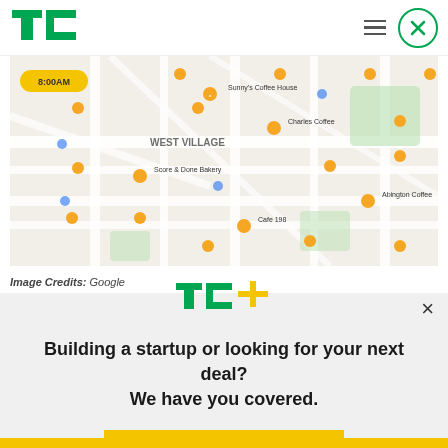[Figure (logo): TechCrunch TC logo in green]
[Figure (screenshot): Google Maps screenshot showing West Village area with coffee shop pins including Sunny's Coffee House, Charles Coffee, Score & Done Bakery, Abington Coffee, Cafe 198, and others. Time label shows 8:00AM.]
Image Credits: Google
[Figure (logo): TC+ logo in green and yellow]
Building a startup or looking for your next deal? We have you covered.
EXPLORE NOW